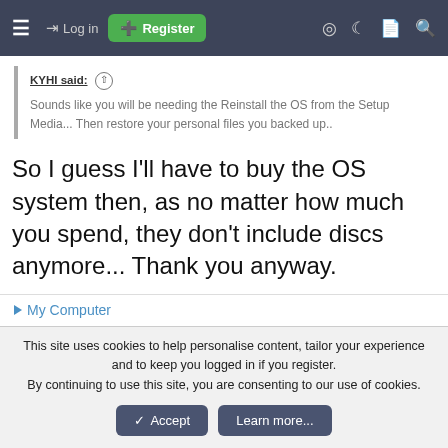≡  →] Log in  [+] Register
KYHI said: ↑
Sounds like you will be needing the Reinstall the OS from the Setup Media... Then restore your personal files you backed up..
So I guess I'll have to buy the OS system then, as no matter how much you spend, they don't include discs anymore... Thank you anyway.
▶ My Computer
This site uses cookies to help personalise content, tailor your experience and to keep you logged in if you register.
By continuing to use this site, you are consenting to our use of cookies.
✓ Accept   Learn more...